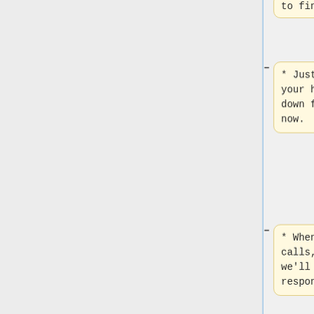to find out!
* Just keep your head down for now.
* When duty calls, we'll respond.
|-
| September 22, 2009
|| I have some family in town. I haven't seen them in years.